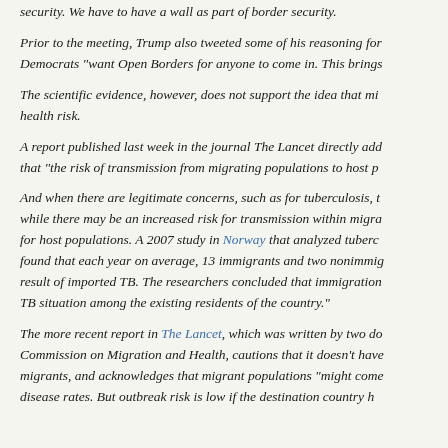security. We have to have a wall as part of border security.
Prior to the meeting, Trump also tweeted some of his reasoning for... Democrats "want Open Borders for anyone to come in. This brings...
The scientific evidence, however, does not support the idea that mi... health risk.
A report published last week in the journal The Lancet directly add... that "the risk of transmission from migrating populations to host p...
And when there are legitimate concerns, such as for tuberculosis, t... while there may be an increased risk for transmission within migra... for host populations. A 2007 study in Norway that analyzed tuberc... found that each year on average, 13 immigrants and two nonimmig... result of imported TB. The researchers concluded that immigration... TB situation among the existing residents of the country."
The more recent report in The Lancet, which was written by two do... Commission on Migration and Health, cautions that it doesn't have... migrants, and acknowledges that migrant populations "might come... disease rates. But outbreak risk is low if the destination country h...